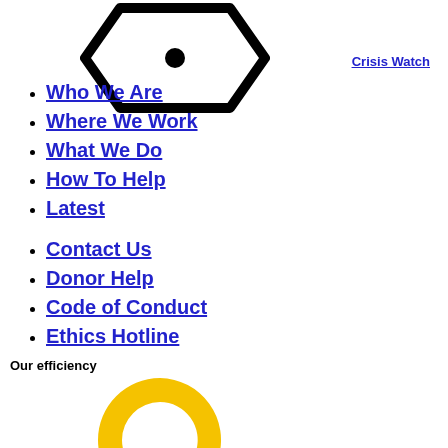[Figure (logo): International Crisis Group logo - a black hexagonal shield/badge outline with a black dot in the center]
Crisis Watch
Who We Are
Where We Work
What We Do
How To Help
Latest
Contact Us
Donor Help
Code of Conduct
Ethics Hotline
Our efficiency
[Figure (donut-chart): Donut chart showing efficiency breakdown with a large yellow/gold segment (majority), a black segment, and a small gray segment]